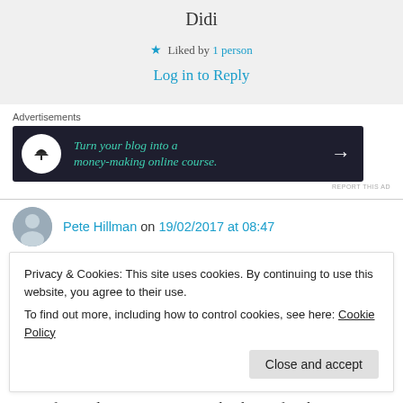Didi
★ Liked by 1 person
Log in to Reply
Advertisements
[Figure (other): Advertisement banner with dark background: 'Turn your blog into a money-making online course.' with arrow and tree logo icon]
REPORT THIS AD
Pete Hillman on 19/02/2017 at 08:47
Privacy & Cookies: This site uses cookies. By continuing to use this website, you agree to their use.
To find out more, including how to control cookies, see here: Cookie Policy
Close and accept
forward to visiting more! Thank you for sharing!